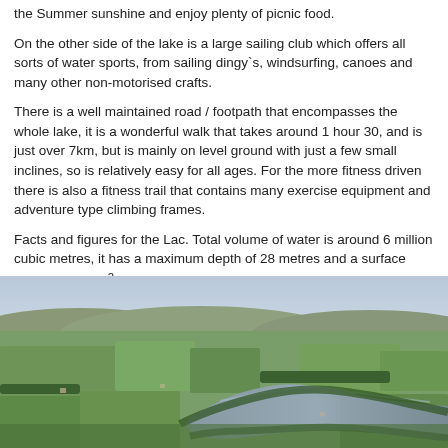the Summer sunshine and enjoy plenty of picnic food.
On the other side of the lake is a large sailing club which offers all sorts of water sports, from sailing dingy`s, windsurfing, canoes and many other non-motorised crafts.
There is a well maintained road / footpath that encompasses the whole lake, it is a wonderful walk that takes around 1 hour 30, and is just over 7km, but is mainly on level ground with just a few small inclines, so is relatively easy for all ages. For the more fitness driven there is also a fitness trail that contains many exercise equipment and adventure type climbing frames.
Facts and figures for the Lac. Total volume of water is around 6 million cubic metres, it has a maximum depth of 28 metres and a surface area of 0.64 km².
[Figure (photo): Aerial photograph of a river winding through a green countryside landscape with rolling hills in the background and a pale blue sky.]